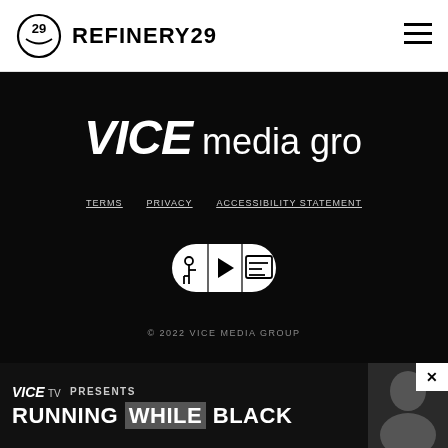REFINERY29
[Figure (logo): VICE media group logo in white on black background]
TERMS   PRIVACY   ACCESSIBILITY STATEMENT
[Figure (illustration): Accessibility badges: wheelchair icon, play icon, and caption/description icon inside overlapping white ovals on black background]
© 2022 VICE MEDIA GROUP
[Figure (screenshot): VICE TV PRESENTS advertisement banner for RUNNING WHILE BLACK with photo of a person on the right and a close button in top-right corner]